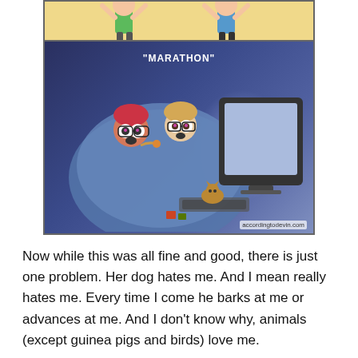[Figure (illustration): A two-panel comic strip. Top panel (partially cropped) shows two cartoon characters with arms raised outdoors on a sunny background. Bottom panel labeled 'MARATHON' in quotes shows two people wrapped in a large blue blanket, staring wide-eyed at a computer monitor, eating snacks — implying a TV/streaming binge marathon rather than a running marathon. Attribution text reads 'accordingtodevin.com'.]
Now while this was all fine and good, there is just one problem. Her dog hates me. And I mean really hates me. Every time I come he barks at me or advances at me. And I don't know why, animals (except guinea pigs and birds) love me.